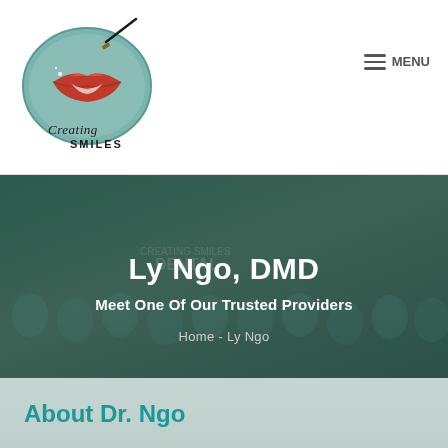[Figure (logo): Creating Smiles dental practice logo — oval teal border with red lips and a paintbrush, text 'Creating SMILES' in script]
≡ MENU
[Figure (photo): Group photo of dental team in teal scrubs standing in front of a 'Creating Smiles Dental' sign, overlaid with dark teal color]
Ly Ngo, DMD
Meet One Of Our Trusted Providers
Home - Ly Ngo
About Dr. Ngo